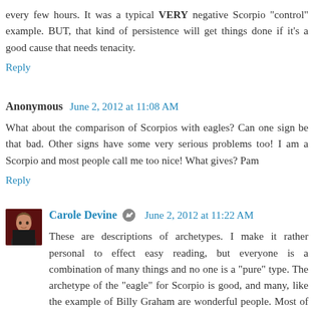every few hours. It was a typical VERY negative Scorpio "control" example. BUT, that kind of persistence will get things done if it's a good cause that needs tenacity.
Reply
Anonymous  June 2, 2012 at 11:08 AM
What about the comparison of Scorpios with eagles? Can one sign be that bad. Other signs have some very serious problems too! I am a Scorpio and most people call me too nice! What gives? Pam
Reply
Carole Devine  June 2, 2012 at 11:22 AM
These are descriptions of archetypes. I make it rather personal to effect easy reading, but everyone is a combination of many things and no one is a "pure" type. The archetype of the "eagle" for Scorpio is good, and many, like the example of Billy Graham are wonderful people. Most of the time however those have a strong influence